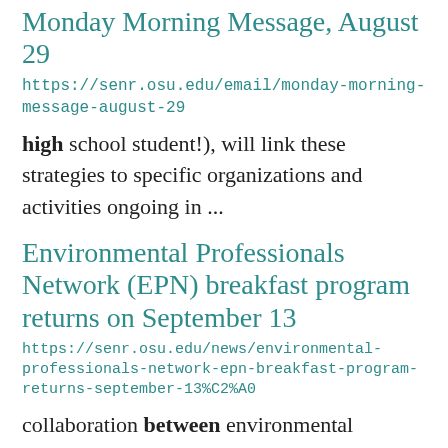Monday Morning Message, August 29
https://senr.osu.edu/email/monday-morning-message-august-29
high school student!), will link these strategies to specific organizations and activities ongoing in ...
Environmental Professionals Network (EPN) breakfast program returns on September 13
https://senr.osu.edu/news/environmental-professionals-network-epn-breakfast-program-returns-september-13%C2%A0
collaboration between environmental stakeholders in Ohio with shared